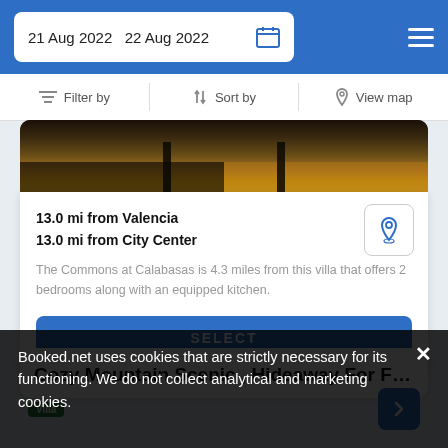21 Aug 2022  22 Aug 2022
Filter by  Sort by  View map
[Figure (photo): Interior room photo showing hardwood floor and dark furniture legs]
13.0 mi from Valencia
13.0 mi from City Center
The Commons at Calabasas is 4.3 miles from this villa that offers 2 bedrooms along with an equipped kitchen.
SELECT
Cozy Mountain Scenic , Hideaway For Fa...
Villa
Booked.net uses cookies that are strictly necessary for its functioning. We do not collect analytical and marketing cookies.